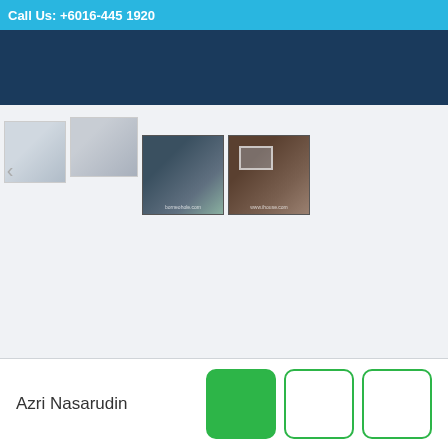Call Us: +6016-445 1920
[Figure (photo): Dark blue banner/header bar]
[Figure (photo): Row of property listing thumbnail images showing interior/exterior views of a property]
Azri Nasarudin
[Figure (other): Three square buttons: one filled green, two with green outline only]